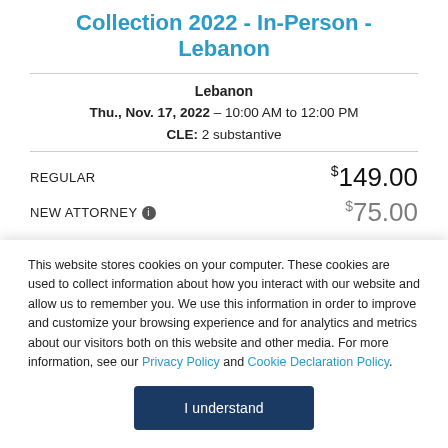Collection 2022 - In-Person - Lebanon
Lebanon
Thu., Nov. 17, 2022 – 10:00 AM to 12:00 PM
CLE: 2 substantive
REGULAR  $149.00
NEW ATTORNEY  $75.00
This website stores cookies on your computer. These cookies are used to collect information about how you interact with our website and allow us to remember you. We use this information in order to improve and customize your browsing experience and for analytics and metrics about our visitors both on this website and other media. For more information, see our Privacy Policy and Cookie Declaration Policy.
I understand